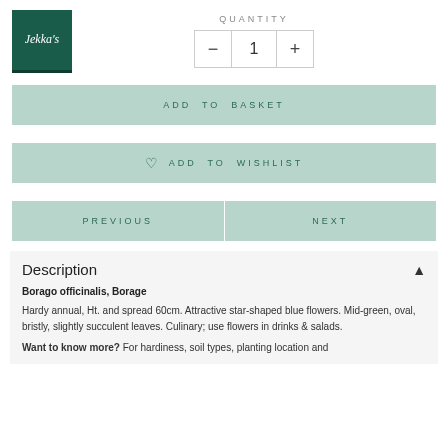[Figure (logo): Jekka's logo - dark green square with white italic text 'Jekka's']
QUANTITY
- 1 +
ADD TO BASKET
ADD TO WISHLIST
PREVIOUS
NEXT
Description
Borago officinalis, Borage
Hardy annual, Ht. and spread 60cm. Attractive star-shaped blue flowers. Mid-green, oval, bristly, slightly succulent leaves. Culinary; use flowers in drinks & salads.
Want to know more? For hardiness, soil types, planting location and